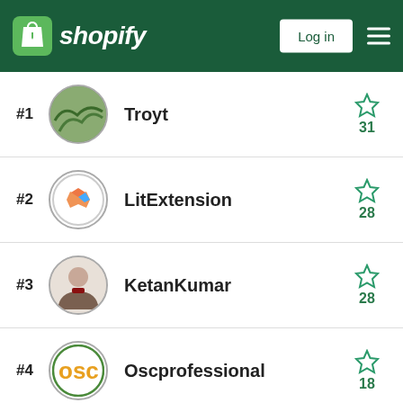Shopify — Log in
#1 Troyt — 31 stars
#2 LitExtension — 28 stars
#3 KetanKumar — 28 stars
#4 Oscprofessional — 18 stars
#5 Made4Uo — 12 stars